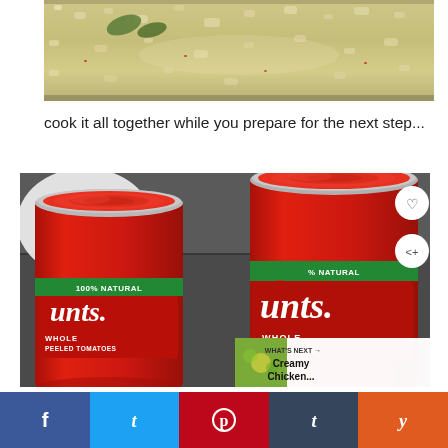[Figure (photo): Close-up of sautéed diced onions and spices cooking in a pan]
cook it all together while you prepare for the next step...
[Figure (photo): Two open cans of Hunt's 100% Natural Whole Peeled Tomatoes on a dark countertop with a white plate in the background]
WHAT'S NEXT → Creamy Chicken...